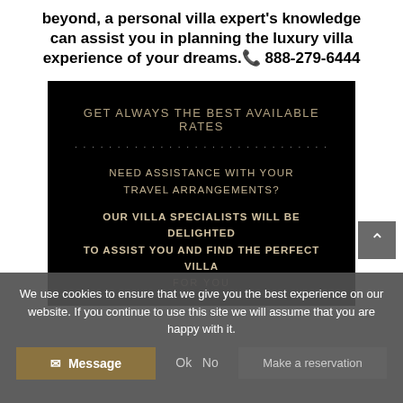beyond, a personal villa expert's knowledge can assist you in planning the luxury villa experience of your dreams.📞 888-279-6444
[Figure (infographic): Black banner with gold/silver text: GET ALWAYS THE BEST AVAILABLE RATES, dotted divider line, NEED ASSISTANCE WITH YOUR TRAVEL ARRANGEMENTS?, OUR VILLA SPECIALISTS WILL BE DELIGHTED TO ASSIST YOU AND FIND THE PERFECT VILLA FOR YOU]
We use cookies to ensure that we give you the best experience on our website. If you continue to use this site we will assume that you are happy with it. Ok No Make a reservation Message